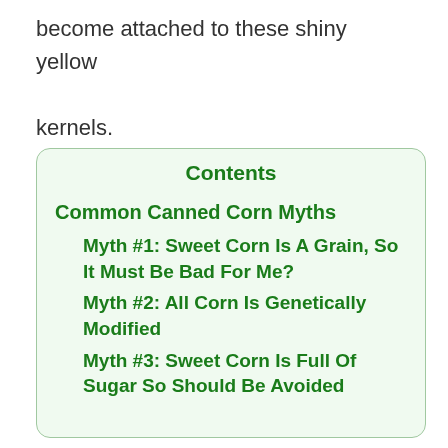become attached to these shiny yellow kernels.
Contents
Common Canned Corn Myths
Myth #1: Sweet Corn Is A Grain, So It Must Be Bad For Me?
Myth #2: All Corn Is Genetically Modified
Myth #3: Sweet Corn Is Full Of Sugar So Should Be Avoided